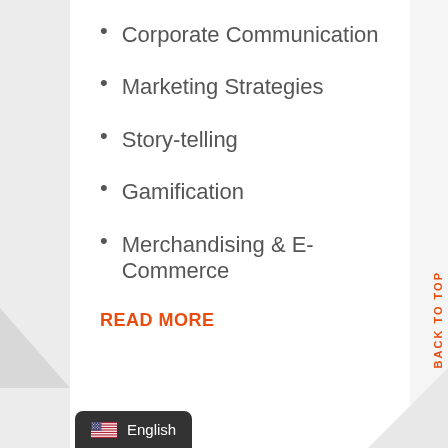Corporate Communication
Marketing Strategies
Story-telling
Gamification
Merchandising & E-Commerce
READ MORE
BACK TO TOP
English